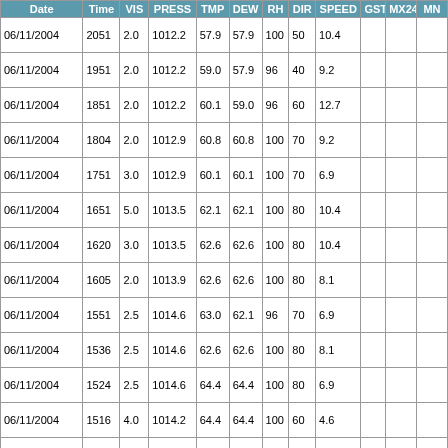| Date | Time | VIS | PRESS | TMP | DEW | RH | DIR | SPEED | GST | MX24 | MN |
| --- | --- | --- | --- | --- | --- | --- | --- | --- | --- | --- | --- |
| 06/11/2004 | 2051 | 2.0 | 1012.2 | 57.9 | 57.9 | 100 | 50 | 10.4 |  |  |  |
| 06/11/2004 | 1951 | 2.0 | 1012.2 | 59.0 | 57.9 | 96 | 40 | 9.2 |  |  |  |
| 06/11/2004 | 1851 | 2.0 | 1012.2 | 60.1 | 59.0 | 96 | 60 | 12.7 |  |  |  |
| 06/11/2004 | 1804 | 2.0 | 1012.9 | 60.8 | 60.8 | 100 | 70 | 9.2 |  |  |  |
| 06/11/2004 | 1751 | 3.0 | 1012.9 | 60.1 | 60.1 | 100 | 70 | 6.9 |  |  |  |
| 06/11/2004 | 1651 | 5.0 | 1013.5 | 62.1 | 62.1 | 100 | 80 | 10.4 |  |  |  |
| 06/11/2004 | 1620 | 3.0 | 1013.5 | 62.6 | 62.6 | 100 | 80 | 10.4 |  |  |  |
| 06/11/2004 | 1605 | 2.0 | 1013.9 | 62.6 | 62.6 | 100 | 80 | 8.1 |  |  |  |
| 06/11/2004 | 1551 | 2.5 | 1014.6 | 63.0 | 62.1 | 96 | 70 | 6.9 |  |  |  |
| 06/11/2004 | 1536 | 2.5 | 1014.6 | 62.6 | 62.6 | 100 | 80 | 8.1 |  |  |  |
| 06/11/2004 | 1524 | 2.5 | 1014.6 | 64.4 | 64.4 | 100 | 80 | 6.9 |  |  |  |
| 06/11/2004 | 1516 | 4.0 | 1014.2 | 64.4 | 64.4 | 100 | 60 | 4.6 |  |  |  |
| 06/11/2004 | 1451 | 8.0 | 1014.2 | 64.9 | 64.0 | 96 | 20 | 5.8 |  |  |  |